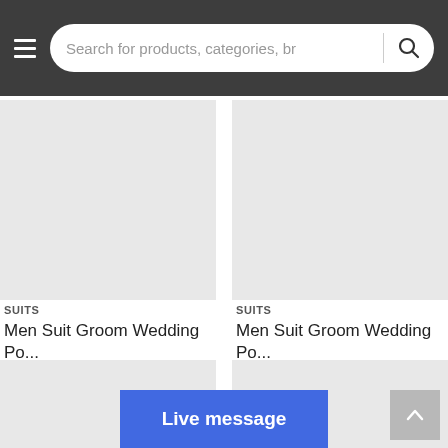Search for products, categories, br
[Figure (screenshot): Product image placeholder 1 (light grey rectangle)]
SUITS
Men Suit Groom Wedding Po...
[Figure (screenshot): Product image placeholder 2 (light grey rectangle)]
SUITS
Men Suit Groom Wedding Po...
[Figure (screenshot): Product image placeholder 3 (light grey rectangle, partial)]
[Figure (screenshot): Product image placeholder 4 (light grey rectangle, partial)]
Live message